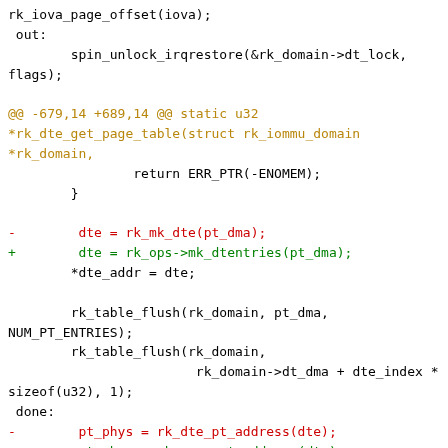[Figure (screenshot): Code diff snippet showing changes to rk_iommu kernel driver functions in C, with removed lines in red, added lines in green, context lines in default color, and diff hunk headers in orange/yellow.]